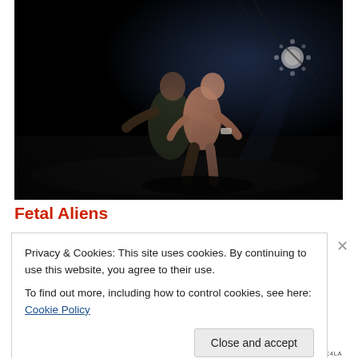[Figure (photo): A dark scene showing two figures, one shirtless person being held or supported, with a circular light source visible in the upper right area against a very dark background.]
Fetal Aliens
Privacy & Cookies: This site uses cookies. By continuing to use this website, you agree to their use.
To find out more, including how to control cookies, see here: Cookie Policy
Close and accept